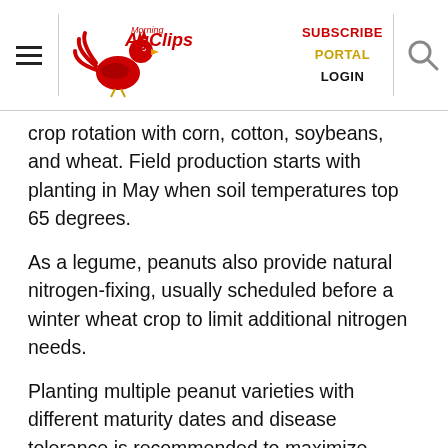Morning AgClips — SUBSCRIBE PORTAL LOGIN
crop rotation with corn, cotton, soybeans, and wheat. Field production starts with planting in May when soil temperatures top 65 degrees.
As a legume, peanuts also provide natural nitrogen-fixing, usually scheduled before a winter wheat crop to limit additional nitrogen needs.
Planting multiple peanut varieties with different maturity dates and disease tolerance is recommended to maximize harvest equipment and storage and mitigate risk of crop failure.
Disease is one of the chief enemies of this crop by threatening seedlings, leaves, stems, and pods. Sound crop rotation, management practices, and variety selection are the foundation of crop protection long